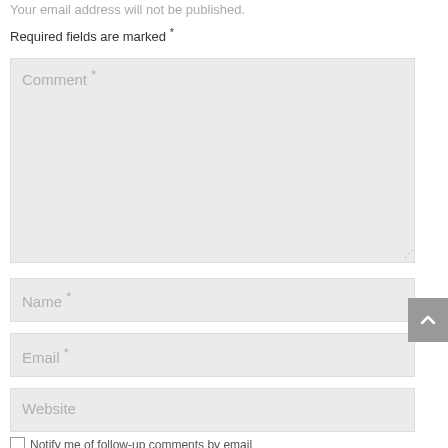Your email address will not be published.
Required fields are marked *
[Figure (screenshot): Comment text area input field (large, gray background)]
[Figure (screenshot): Name text input field (gray background)]
[Figure (screenshot): Email text input field (gray background)]
[Figure (screenshot): Website text input field (gray background)]
Notify me of follow-up comments by email